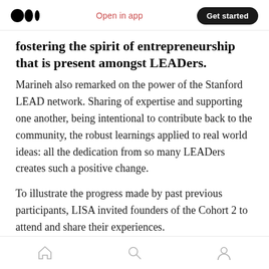Open in app | Get started
fostering the spirit of entrepreneurship that is present amongst LEADers.
Marineh also remarked on the power of the Stanford LEAD network. Sharing of expertise and supporting one another, being intentional to contribute back to the community, the robust learnings applied to real world ideas: all the dedication from so many LEADers creates such a positive change.
To illustrate the progress made by past previous participants, LISA invited founders of the Cohort 2 to attend and share their experiences.
Home | Search | Profile